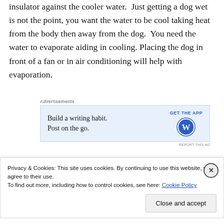insulator against the cooler water.  Just getting a dog wet is not the point, you want the water to be cool taking heat from the body then away from the dog.  You need the water to evaporate aiding in cooling. Placing the dog in front of a fan or in air conditioning will help with evaporation.
[Figure (screenshot): Advertisement banner: 'Build a writing habit. Post on the go.' with 'GET THE APP' button and WordPress logo on blue background]
A Caution
Privacy & Cookies: This site uses cookies. By continuing to use this website, you agree to their use. To find out more, including how to control cookies, see here: Cookie Policy